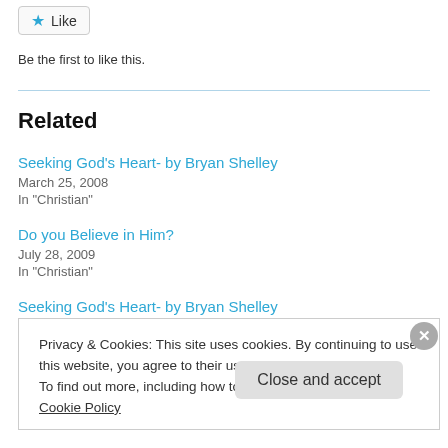[Figure (other): Like button with blue star icon]
Be the first to like this.
Related
Seeking God's Heart- by Bryan Shelley
March 25, 2008
In "Christian"
Do you Believe in Him?
July 28, 2009
In "Christian"
Seeking God's Heart- by Bryan Shelley
Privacy & Cookies: This site uses cookies. By continuing to use this website, you agree to their use.
To find out more, including how to control cookies, see here: Cookie Policy
Close and accept